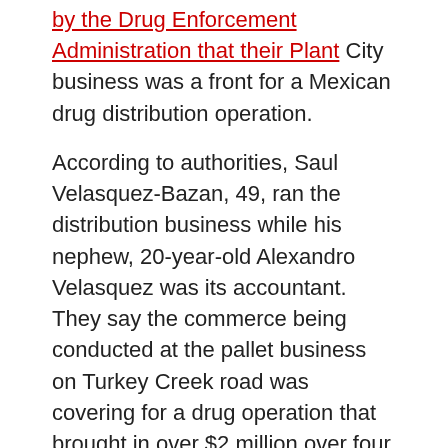[link text cut off] ...by the Drug Enforcement Administration that their Plant City business was a front for a Mexican drug distribution operation.
According to authorities, Saul Velasquez-Bazan, 49, ran the distribution business while his nephew, 20-year-old Alexandro Velasquez was its accountant. They say the commerce being conducted at the pallet business on Turkey Creek road was covering for a drug operation that brought in over $2 million over four months this summer.
Police began investigating the business almost a year ago, but say that they got their first real break in the case in April when two Hillsborough County Sheriff's deputies acting undercover say they discussed purchasing